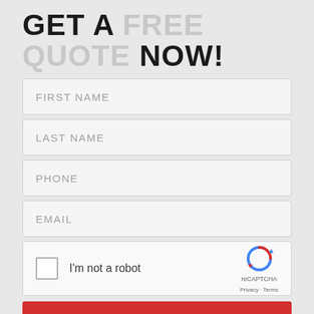GET A FREE QUOTE NOW!
FIRST NAME
LAST NAME
PHONE
EMAIL
[Figure (screenshot): reCAPTCHA widget with checkbox labeled I'm not a robot and reCAPTCHA logo with Privacy - Terms links]
GET MY FREE QUOTE